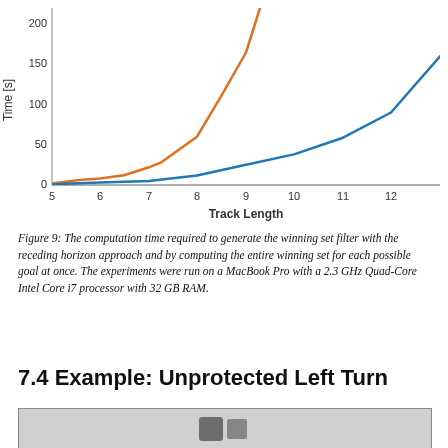[Figure (continuous-plot): Line chart showing computation time (Time [s], y-axis 0-200+) vs Track Length (x-axis 5-12+). Two curves: orange curve rises steeply (exponential-like) going off chart above 200 at track length ~9.5; blue curve rises more gradually reaching ~160 at track length ~13.]
Figure 9: The computation time required to generate the winning set filter with the receding horizon approach and by computing the entire winning set for each possible goal at once. The experiments were run on a MacBook Pro with a 2.3 GHz Quad-Core Intel Core i7 processor with 32 GB RAM.
7.4 Example: Unprotected Left Turn
[Figure (photo): Partial image at bottom of page, appears to be a photo or diagram related to the Unprotected Left Turn example, clipped.]